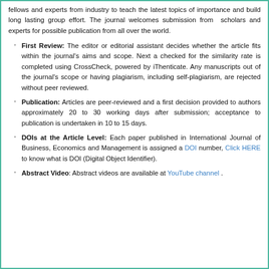fellows and experts from industry to teach the latest topics of importance and build long lasting group effort. The journal welcomes submission from  scholars and experts for possible publication from all over the world.
First Review: The editor or editorial assistant decides whether the article fits within the journal's aims and scope. Next a checked for the similarity rate is completed using CrossCheck, powered by iThenticate. Any manuscripts out of the journal's scope or having plagiarism, including self-plagiarism, are rejected without peer reviewed.
Publication: Articles are peer-reviewed and a first decision provided to authors approximately 20 to 30 working days after submission; acceptance to publication is undertaken in 10 to 15 days.
DOIs at the Article Level: Each paper published in International Journal of Business, Economics and Management is assigned a DOI number, Click HERE to know what is DOI (Digital Object Identifier).
Abstract Video: Abstract videos are available at YouTube channel .